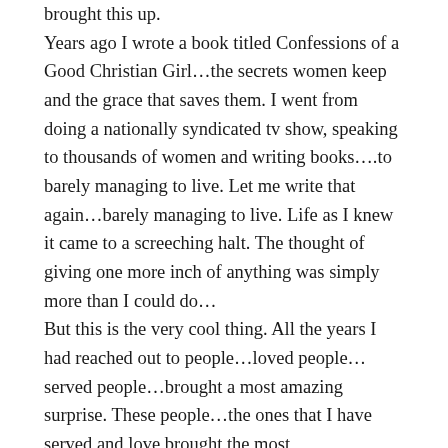brought this up. Years ago I wrote a book titled Confessions of a Good Christian Girl…the secrets women keep and the grace that saves them. I went from doing a nationally syndicated tv show, speaking to thousands of women and writing books….to barely managing to live. Let me write that again…barely managing to live. Life as I knew it came to a screeching halt. The thought of giving one more inch of anything was simply more than I could do… But this is the very cool thing. All the years I had reached out to people…loved people…served people…brought a most amazing surprise. These people…the ones that I have served and love brought the most